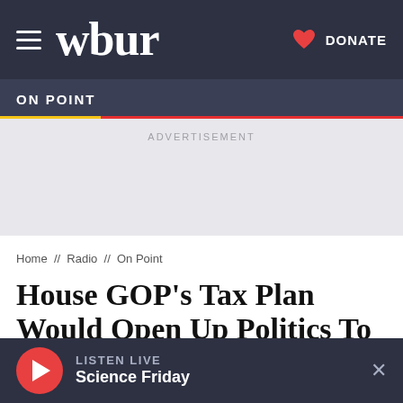wbur   DONATE
ON POINT
ADVERTISEMENT
Home // Radio // On Point
House GOP's Tax Plan Would Open Up Politics To Churches — And Charities
LISTEN LIVE Science Friday